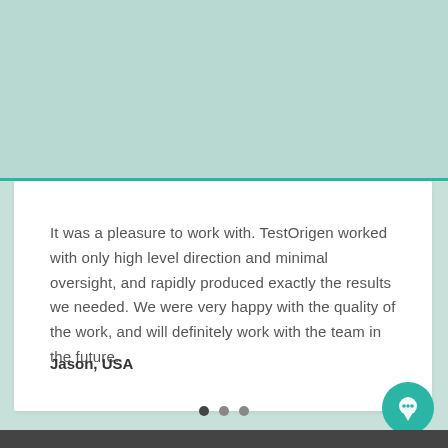It was a pleasure to work with. TestOrigen worked with only high level direction and minimal oversight, and rapidly produced exactly the results we needed. We were very happy with the quality of the work, and will definitely work with the team in the future.
Jason, USA